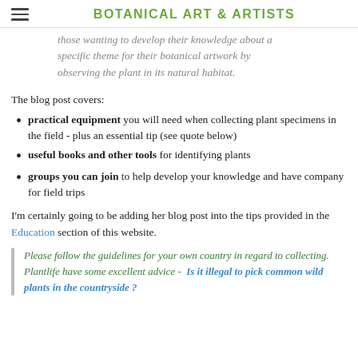BOTANICAL ART & ARTISTS
those wanting to develop their knowledge about a specific theme for their botanical artwork by observing the plant in its natural habitat.
The blog post covers:
practical equipment you will need when collecting plant specimens in the field - plus an essential tip (see quote below)
useful books and other tools for identifying plants
groups you can join to help develop your knowledge and have company for field trips
I'm certainly going to be adding her blog post into the tips provided in the Education section of this website.
Please follow the guidelines for your own country in regard to collecting. Plantlife have some excellent advice - Is it illegal to pick common wild plants in the countryside ?